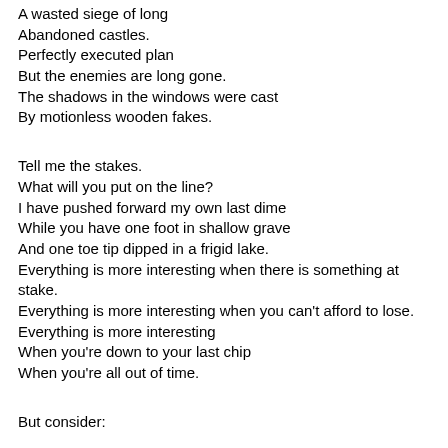A wasted siege of long
Abandoned castles.
Perfectly executed plan
But the enemies are long gone.
The shadows in the windows were cast
By motionless wooden fakes.
Tell me the stakes.
What will you put on the line?
I have pushed forward my own last dime
While you have one foot in shallow grave
And one toe tip dipped in a frigid lake.
Everything is more interesting when there is something at stake.
Everything is more interesting when you can't afford to lose.
Everything is more interesting
When you're down to your last chip
When you're all out of time.
But consider: